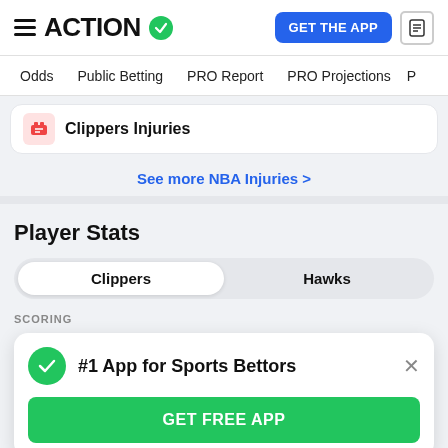ACTION
Clippers Injuries
See more NBA Injuries
Player Stats
Clippers | Hawks
SCORING
#1 App for Sports Bettors
GET FREE APP